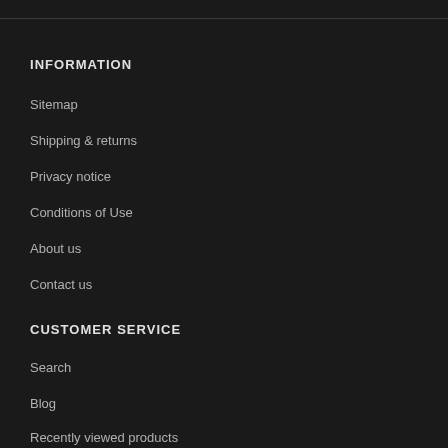INFORMATION
Sitemap
Shipping & returns
Privacy notice
Conditions of Use
About us
Contact us
CUSTOMER SERVICE
Search
Blog
Recently viewed products